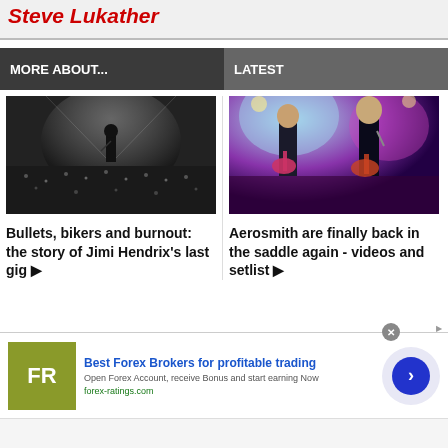Steve Lukather
MORE ABOUT...
LATEST
[Figure (photo): Black and white photo of a performer on stage with a large crowd]
Bullets, bikers and burnout: the story of Jimi Hendrix's last gig ▶
[Figure (photo): Color photo of Aerosmith musicians performing on stage with purple/pink lighting]
Aerosmith are finally back in the saddle again - videos and setlist ▶
[Figure (other): Advertisement: Best Forex Brokers for profitable trading - forex-ratings.com with FR logo]